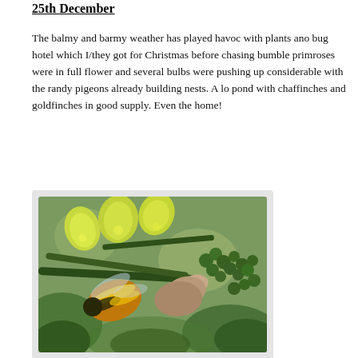25th December
The balmy and barmy weather has played havoc with plants and bug hotel which I/they got for Christmas before chasing bumble primroses were in full flower and several bulbs were pushing up considerable with the randy pigeons already building nests. A lo pond with chaffinches and goldfinches in good supply. Even the home!
[Figure (photo): Close-up photograph of a bumblebee (bombus terrestris) on mahonia plant with yellow-green flowers and green berries]
bombus terrestris on mahonia